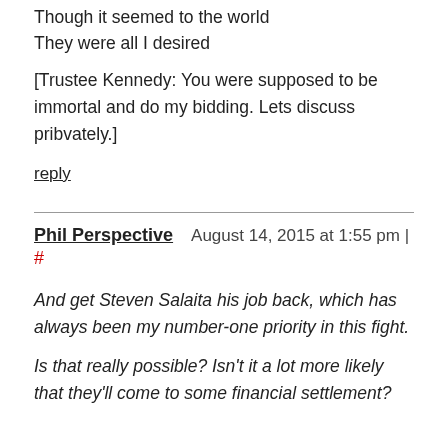Though it seemed to the world
They were all I desired
[Trustee Kennedy: You were supposed to be immortal and do my bidding. Lets discuss pribvately.]
reply
Phil Perspective   August 14, 2015 at 1:55 pm | #
And get Steven Salaita his job back, which has always been my number-one priority in this fight.

Is that really possible? Isn't it a lot more likely that they'll come to some financial settlement?